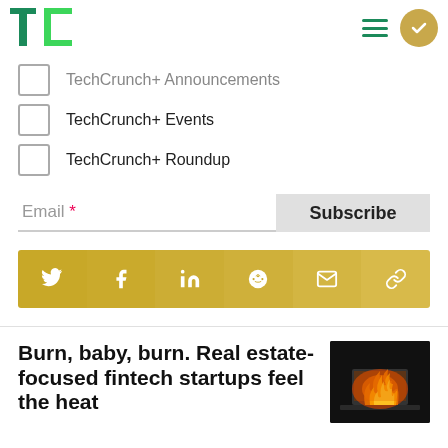TechCrunch
TechCrunch+ Announcements
TechCrunch+ Events
TechCrunch+ Roundup
Email * [Subscribe button]
[Figure (infographic): Social sharing bar with icons for Twitter, Facebook, LinkedIn, Reddit, Email, and Link on a gold/yellow gradient background]
Burn, baby, burn. Real estate-focused fintech startups feel the heat
[Figure (photo): Photo of a laptop on fire against a dark background]